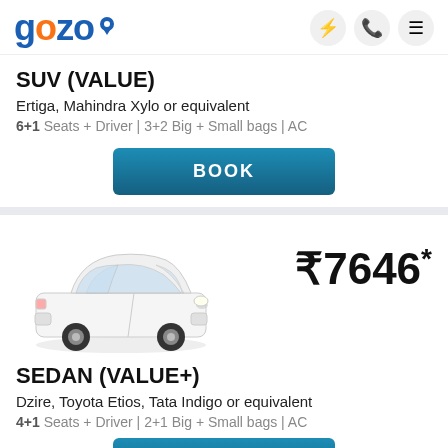[Figure (logo): Gozo logo with blue and orange lettering and a location pin icon]
SUV (VALUE)
Ertiga, Mahindra Xylo or equivalent
6+1 Seats + Driver | 3+2 Big + Small bags | AC
[Figure (other): BOOK button - teal/dark blue gradient button]
[Figure (photo): White Toyota Etios sedan car image]
₹7646*
SEDAN (VALUE+)
Dzire, Toyota Etios, Tata Indigo or equivalent
4+1 Seats + Driver | 2+1 Big + Small bags | AC